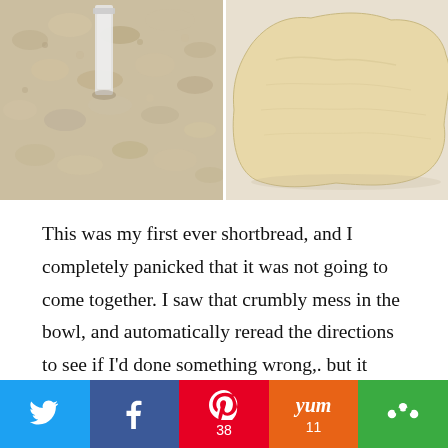[Figure (photo): Two food photos side by side: left shows crumbly shortbread dough mixture in a bowl with a scraper/tool visible; right shows rolled out flat shortbread dough on a surface with irregular edges.]
This was my first ever shortbread, and I completely panicked that it was not going to come together.  I saw that crumbly mess in the bowl, and automatically reread the directions to see if I'd done something wrong,. but it rolled out perfectly between the waxed paper.  I cut out the squares with a 2x2 cutter. The great thing about shortbread is that it doesn't spread, so I got about 20 cookies per half sheet tray, and the two batches makes 80
Twitter | Facebook | Pinterest 38 | Yum 11 | Other